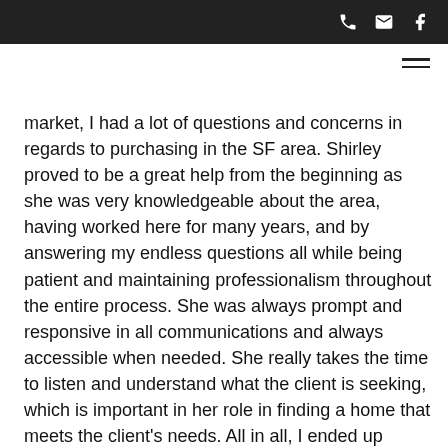market, I had a lot of questions and concerns in regards to purchasing in the SF area. Shirley proved to be a great help from the beginning as she was very knowledgeable about the area, having worked here for many years, and by answering my endless questions all while being patient and maintaining professionalism throughout the entire process. She was always prompt and responsive in all communications and always accessible when needed. She really takes the time to listen and understand what the client is seeking, which is important in her role in finding a home that meets the client’s needs. All in all, I ended up purchasing my first home (all thanks to Shirley who found it for me!) and couldn’t be more